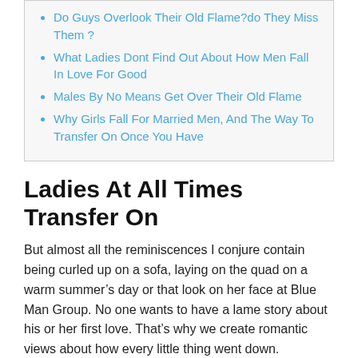Do Guys Overlook Their Old Flame?do They Miss Them ?
What Ladies Dont Find Out About How Men Fall In Love For Good
Males By No Means Get Over Their Old Flame
Why Girls Fall For Married Men, And The Way To Transfer On Once You Have
Ladies At All Times Transfer On
But almost all the reminiscences I conjure contain being curled up on a sofa, laying on the quad on a warm summer’s day or that look on her face at Blue Man Group. No one wants to have a lame story about his or her first love. That’s why we create romantic views about how every little thing went down.
Do Guys Overlook Their First Love?do